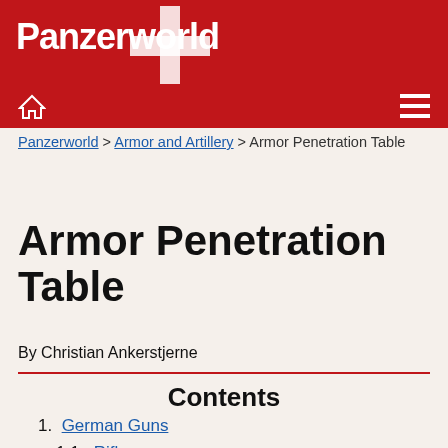Panzerworld
Panzerworld > Armor and Artillery > Armor Penetration Table
Armor Penetration Table
By Christian Ankerstjerne
Contents
1. German Guns
1.1. Rifle